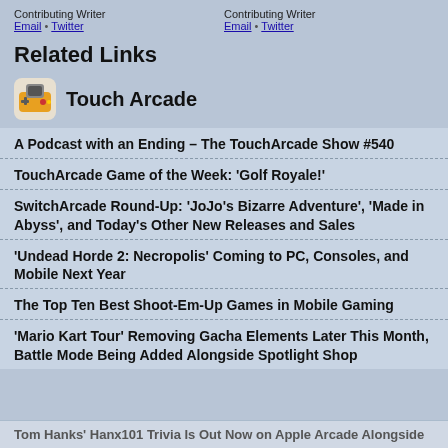Contributing Writer
Email • Twitter

Contributing Writer
Email • Twitter
Related Links
[Figure (logo): Touch Arcade app icon logo — orange and grey gaming controller icon]
Touch Arcade
A Podcast with an Ending – The TouchArcade Show #540
TouchArcade Game of the Week: 'Golf Royale!'
SwitchArcade Round-Up: 'JoJo's Bizarre Adventure', 'Made in Abyss', and Today's Other New Releases and Sales
'Undead Horde 2: Necropolis' Coming to PC, Consoles, and Mobile Next Year
The Top Ten Best Shoot-Em-Up Games in Mobile Gaming
'Mario Kart Tour' Removing Gacha Elements Later This Month, Battle Mode Being Added Alongside Spotlight Shop
Tom Hanks' Hanx101 Trivia Is Out Now on Apple Arcade Alongside